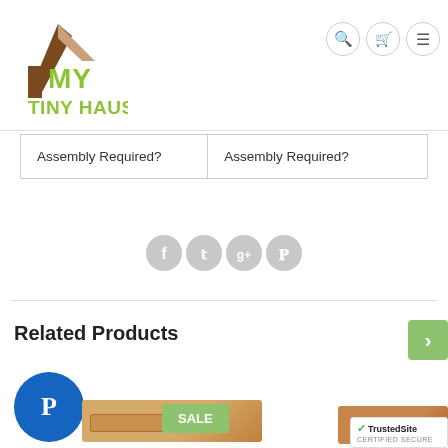My Tiny Haus - navigation header with logo and icons
| Assembly Required? | Assembly Required? |
[Figure (illustration): Social share icons: Facebook, Twitter, Google+, Pinterest]
Related Products
[Figure (infographic): PayPal badge, product furniture images with SALE badge, TrustedSite certified secure badge]